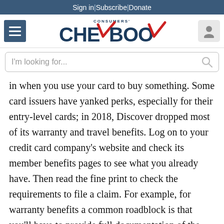Sign in | Subscribe | Donate
[Figure (logo): Consumers' Checkbook logo with hamburger menu and user icon]
I'm looking for...
in when you use your card to buy something. Some card issuers have yanked perks, especially for their entry-level cards; in 2018, Discover dropped most of its warranty and travel benefits. Log on to your credit card company’s website and check its member benefits pages to see what you already have. Then read the fine print to check the requirements to file a claim. For example, for warranty benefits a common roadblock is that you’ll have to provide full documentation of the purchase, including an original credit card receipt.